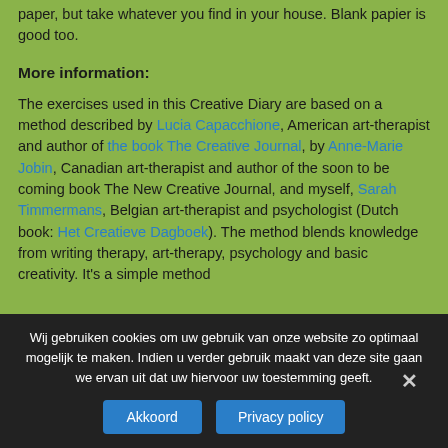paper, but take whatever you find in your house. Blank papier is good too.
More information:
The exercises used in this Creative Diary are based on a method described by Lucia Capacchione, American art-therapist and author of the book The Creative Journal, by Anne-Marie Jobin, Canadian art-therapist and author of the soon to be coming book The New Creative Journal, and myself, Sarah Timmermans, Belgian art-therapist and psychologist (Dutch book: Het Creatieve Dagboek). The method blends knowledge from writing therapy, art-therapy, psychology and basic creativity. It's a simple method
Wij gebruiken cookies om uw gebruik van onze website zo optimaal mogelijk te maken. Indien u verder gebruik maakt van deze site gaan we ervan uit dat uw hiervoor uw toestemming geeft.
Akkoord
Privacy policy